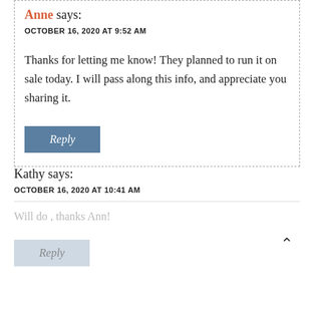Anne says:
OCTOBER 16, 2020 AT 9:52 AM
Thanks for letting me know! They planned to run it on sale today. I will pass along this info, and appreciate you sharing it.
Reply
Kathy says:
OCTOBER 16, 2020 AT 10:41 AM
Will do , thanks Ann!
Reply